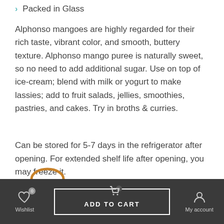Packed in Glass
Alphonso mangoes are highly regarded for their rich taste, vibrant color, and smooth, buttery texture. Alphonso mango puree is naturally sweet, so no need to add additional sugar. Use on top of ice-cream; blend with milk or yogurt to make lassies; add to fruit salads, jellies, smoothies, pastries, and cakes. Try in broths & curries.
Can be stored for 5-7 days in the refrigerator after opening. For extended shelf life after opening, you may freeze it.
Wishlist  ADD TO CART  Cart  My account